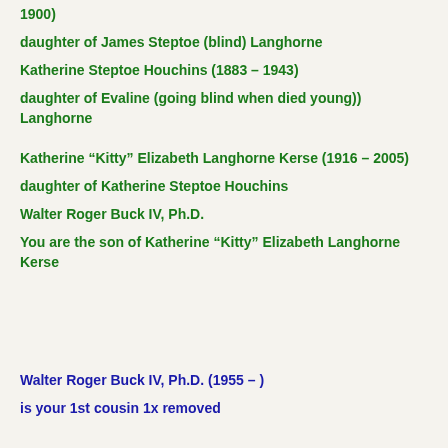1900)
daughter of James Steptoe (blind) Langhorne
Katherine Steptoe Houchins (1883 – 1943)
daughter of Evaline (going blind when died young)) Langhorne
Katherine “Kitty” Elizabeth Langhorne Kerse (1916 – 2005)
daughter of Katherine Steptoe Houchins
Walter Roger Buck IV, Ph.D.
You are the son of Katherine “Kitty” Elizabeth Langhorne Kerse
Walter Roger Buck IV, Ph.D. (1955 – )
is your 1st cousin 1x removed